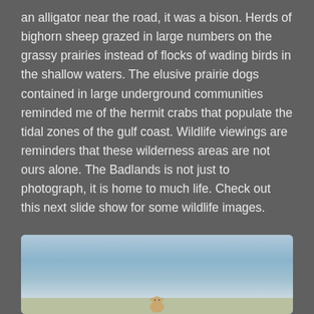an alligator near the road, it was a bison. Herds of bighorn sheep grazed in large numbers on the grassy prairies instead of flocks of wading birds in the shallow waters. The elusive prairie dogs contained in large underground communities reminded me of the hermit crabs that populate the tidal zones of the gulf coast. Wildlife viewings are reminders that these wilderness areas are not ours alone. The Badlands is not just to photograph, it is home to much life. Check out this next slide show for some wildlife images.
[Figure (photo): A wildlife photo showing what appears to be a small animal (possibly a prairie dog or bighorn sheep) in the foreground against a blue sky with light clouds and a grassy ground.]